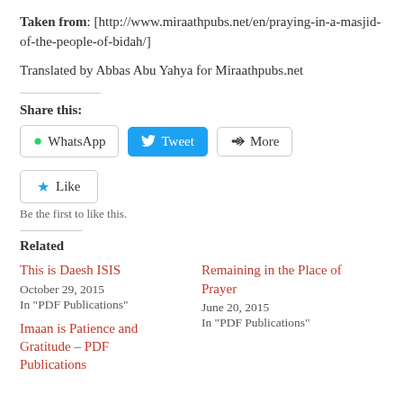Taken from: [http://www.miraathpubs.net/en/praying-in-a-masjid-of-the-people-of-bidah/]
Translated by Abbas Abu Yahya for Miraathpubs.net
Share this:
WhatsApp  Tweet  More
Like
Be the first to like this.
Related
This is Daesh ISIS
October 29, 2015
In "PDF Publications"
Remaining in the Place of Prayer
June 20, 2015
In "PDF Publications"
Imaan is Patience and Gratitude – PDF Publications